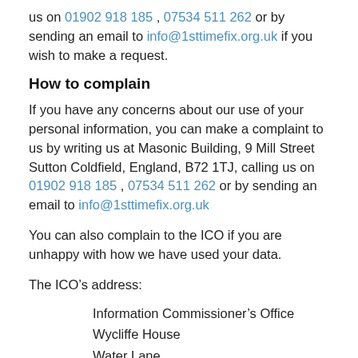us on 01902 918 185 , 07534 511 262 or by sending an email to info@1sttimefix.org.uk if you wish to make a request.
How to complain
If you have any concerns about our use of your personal information, you can make a complaint to us by writing us at Masonic Building, 9 Mill Street Sutton Coldfield, England, B72 1TJ, calling us on 01902 918 185 , 07534 511 262 or by sending an email to info@1sttimefix.org.uk
You can also complain to the ICO if you are unhappy with how we have used your data.
The ICO’s address:
Information Commissioner’s Office
Wycliffe House
Water Lane